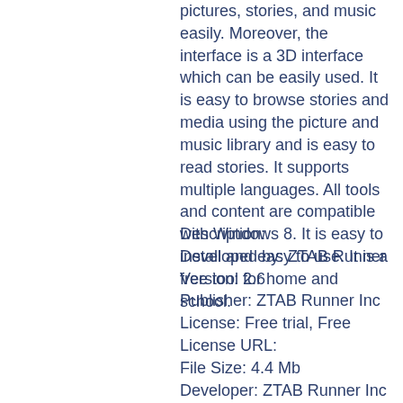pictures, stories, and music easily. Moreover, the interface is a 3D interface which can be easily used. It is easy to browse stories and media using the picture and music library and is easy to read stories. It supports multiple languages. All tools and content are compatible with Windows 8. It is easy to install and easy to use. It is a free tool for home and school.
Description:
Developed by: ZTAB Runner
Version: 2.6
Publisher: ZTAB Runner Inc
License: Free trial, Free
License URL:
File Size: 4.4 Mb
Developer: ZTAB Runner Inc
Date Added: 04/07/2015
Legacy OS: Windows XP / Vista / 7 / 8 / 8.1
Operating System: Windows XP / Vista / 7 / 8 / 8.1
Language: English